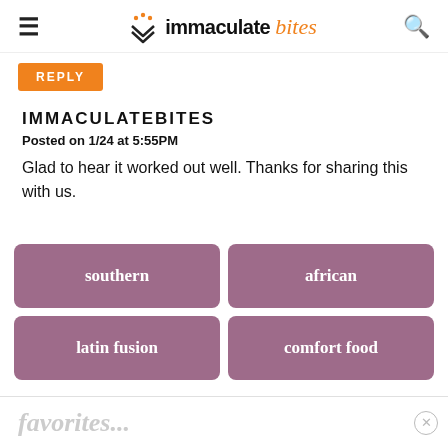immaculatebites
REPLY
IMMACULATEBITES
Posted on 1/24 at 5:55PM
Glad to hear it worked out well. Thanks for sharing this with us.
southern
african
latin fusion
comfort food
favorites...